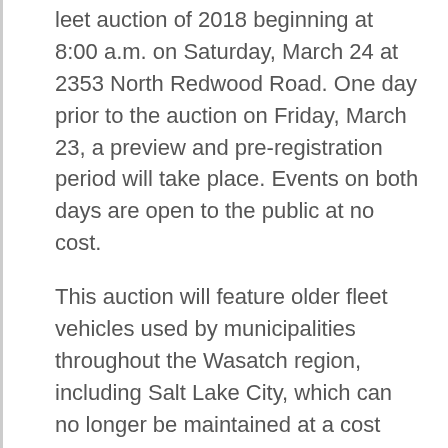leet auction of 2018 beginning at 8:00 a.m. on Saturday, March 24 at 2353 North Redwood Road. One day prior to the auction on Friday, March 23, a preview and pre-registration period will take place. Events on both days are open to the public at no cost.
This auction will feature older fleet vehicles used by municipalities throughout the Wasatch region, including Salt Lake City, which can no longer be maintained at a cost lower than a replacement for newer and more efficient models.
Government surplus vehicles have been carefully maintained since purchase by highly qualified mechanics and typically come to buyers in ideal condition based on their age, usage, and mileage.